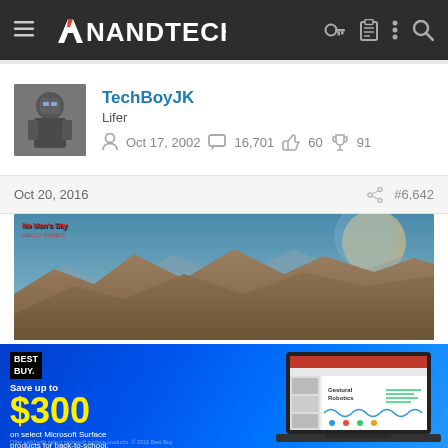AnandTech
TechBoyJK
Lifer
Oct 17, 2002   16,701   60   91
Oct 20, 2016   #6,642
[Figure (screenshot): Game screenshot showing mountainous landscape with sky and moon/planet in background]
[Figure (advertisement): Best Buy advertisement: Save up to $300 on select Microsoft Surface products for back-to-school. Shop Now. Shows laptop with PowerPoint presentation.]